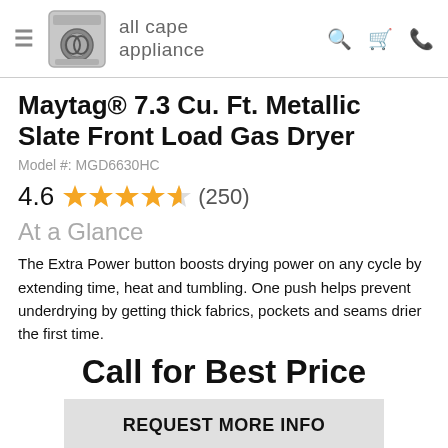all cape appliance
Maytag® 7.3 Cu. Ft. Metallic Slate Front Load Gas Dryer
Model #: MGD6630HC
4.6 ★★★★★ (250)
At a Glance
The Extra Power button boosts drying power on any cycle by extending time, heat and tumbling. One push helps prevent underdrying by getting thick fabrics, pockets and seams drier the first time.
Call for Best Price
REQUEST MORE INFO